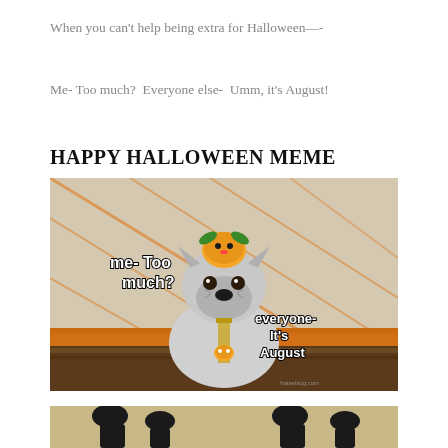When you can't help being extra for Halloween—-
Me- Too much?  Everyone else-  Umm, it's August!
HAPPY HALLOWEEN MEME
[Figure (photo): A French Bulldog wearing a Halloween costume (pumpkin hat and sparkly tie) sitting among orange decorations. Text overlaid: 'me- Too much?' on the left and 'everyone- It's August' on the right.]
[Figure (photo): Partial view of another Halloween meme image at the bottom of the page, showing feet/legs with Halloween decorations.]